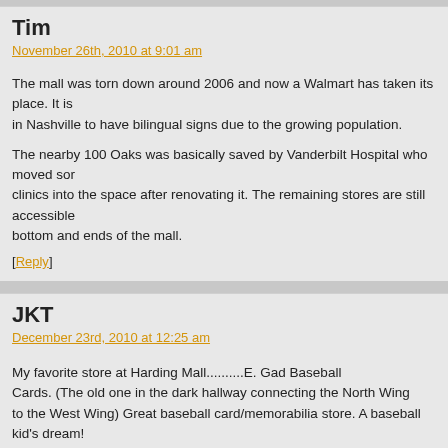Tim
November 26th, 2010 at 9:01 am
The mall was torn down around 2006 and now a Walmart has taken its place. It is in Nashville to have bilingual signs due to the growing population.
The nearby 100 Oaks was basically saved by Vanderbilt Hospital who moved some clinics into the space after renovating it. The remaining stores are still accessible bottom and ends of the mall.
[Reply]
JKT
December 23rd, 2010 at 12:25 am
My favorite store at Harding Mall..........E. Gad Baseball Cards. (The old one in the dark hallway connecting the North Wing to the West Wing) Great baseball card/memorabilia store. A baseball kid's dream!
[Reply]